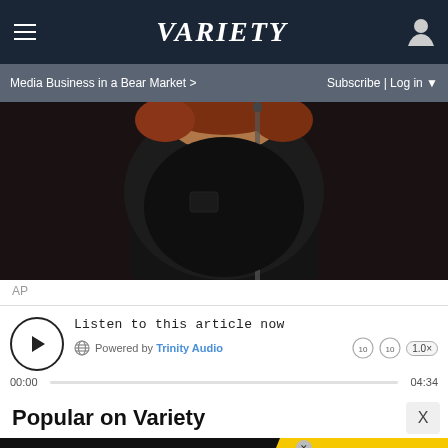VARIETY
Media Business in a Bear Market >
Subscribe | Log in
[Figure (photo): Person with red/auburn hair singing or speaking at a microphone, wearing a black shirt, dark background.]
AP
Listen to this article now
Powered by Trinity Audio
00:00  04:34
Popular on Variety
[Figure (infographic): Advertisement banner: BOGO BLINK MINIS GET YOURS NOW with SPY logo on yellow background.]